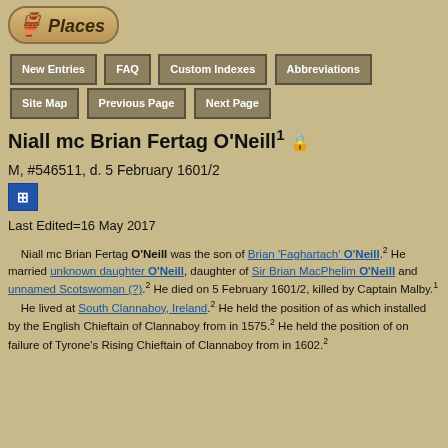Places
New Entries | FAQ | Custom Indexes | Abbreviations
Site Map | Previous Page | Next Page
Niall mc Brian Fertag O'Neill
M, #546511, d. 5 February 1601/2
Last Edited=16 May 2017
Niall mc Brian Fertag O'Neill was the son of Brian 'Faghartach' O'Neill.2 He married unknown daughter O'Neill, daughter of Sir Brian MacPhelim O'Neill and unnamed Scotswoman (?).2 He died on 5 February 1601/2, killed by Captain Malby.1 He lived at South Clannaboy, Ireland.2 He held the position of as which installed by the English Chieftain of Clannaboy from in 1575.2 He held the position of on failure of Tyrone's Rising Chieftain of Clannaboy from in 1602.2